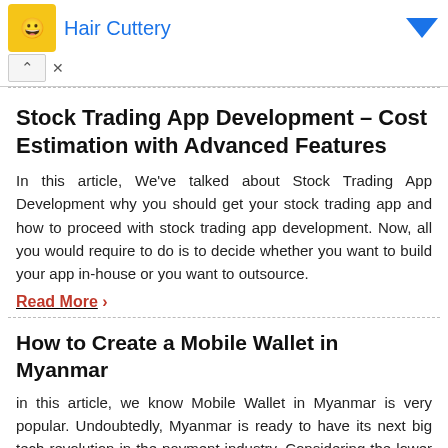[Figure (other): Advertisement banner for Hair Cuttery with logo icon and blue arrow]
Stock Trading App Development – Cost Estimation with Advanced Features
In this article, We've talked about Stock Trading App Development why you should get your stock trading app and how to proceed with stock trading app development. Now, all you would require to do is to decide whether you want to build your app in-house or you want to outsource.
Read More ›
How to Create a Mobile Wallet in Myanmar
in this article, we know Mobile Wallet in Myanmar is very popular. Undoubtedly, Myanmar is ready to have its next big tech revolution in the payment industry. Considering the lower adoption rate of banking institutions by the population